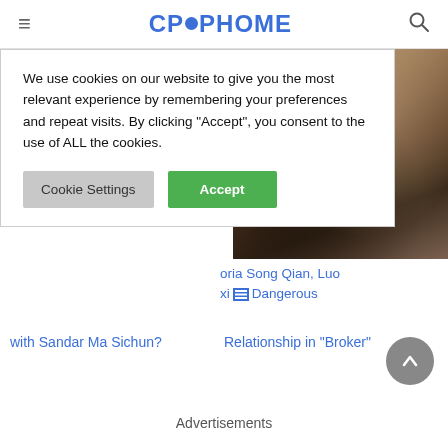CPOPHOME
We use cookies on our website to give you the most relevant experience by remembering your preferences and repeat visits. By clicking "Accept", you consent to the use of ALL the cookies.
Cookie Settings | Accept
[Figure (photo): Two young Asian actors (male and female) in a close romantic scene, facing each other, from a Chinese drama]
oria Song Qian, Luo xi Dangerous Relationship in "Broker"
with Sandar Ma Sichun?
Advertisements